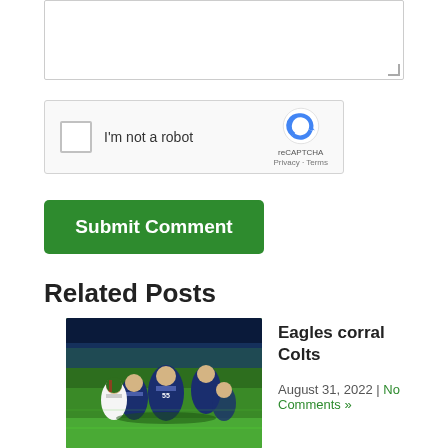[Figure (screenshot): Text area input box (partially visible, top of page)]
[Figure (screenshot): reCAPTCHA widget with checkbox labeled I'm not a robot, reCAPTCHA logo with Privacy and Terms links]
Submit Comment
Related Posts
[Figure (photo): Football game action photo: players in blue uniforms and green uniforms competing on a green field at night]
Eagles corral Colts
August 31, 2022 | No Comments »